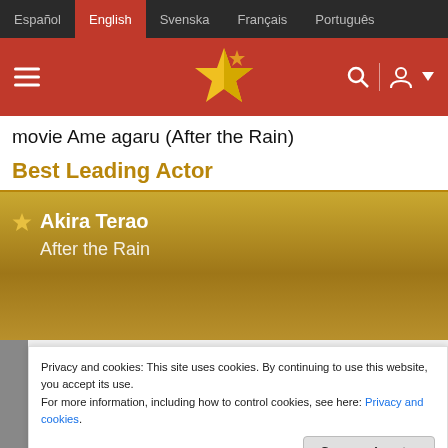Español | English | Svenska | Français | Português
[Figure (screenshot): Red website header bar with hamburger menu icon on left, star logo in center, search and user icons on right]
movie Ame agaru (After the Rain)
Best Leading Actor
Akira Terao — After the Rain (winner, gold background)
Privacy and cookies: This site uses cookies. By continuing to use this website, you accept its use.
For more information, including how to control cookies, see here: Privacy and cookies.